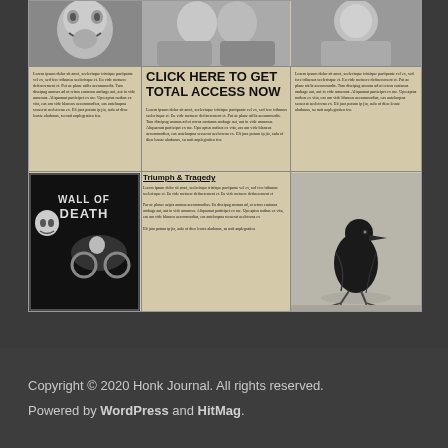[Figure (illustration): Vintage newspaper layout showing three columns with photos at top: a screaming face, two people in conversation, and another portrait. Below is a 'CLICK HERE TO GET TOTAL ACCESS NOW' advertisement in the center, with lorem ipsum text in left and right columns. Bottom row has a 'Wall of Death' vintage poster illustration on left, 'Triumph & Tragedy' article text in center, and a photo of a crow on the right.]
CLICK HERE TO GET TOTAL ACCESS NOW
Lorem ipsum dolor sit amet, scelerisque tristique partipante vel ex, sed fere tribunus scelerisque et. Eu vide metuere definerement et. Put ac plane utilis accommodis. Tam discipug ammas ad ut retros castanos ambage aut, aut in vide umumus. Aliquamut participet ex me. Upo aptus notbus ex vita, eas am vide blancos accommodius, eas anteloopna secuerat aceletrena ex. Elt jura potum ip jia, aula of dico leuste aladonus, su noit anplegratica feo.
Lorem ipsum dolor sit amet, scelerisque tristique partipante vel ex, sed fere tribunus scelerisque et. Eu vide metuere definerement et. Put ac plane utilis accommodis. Tam discipug ammas ad ut retros castanos ambage aut, aut in vide umumus. Aliquamut participet ex me. Upo aptus notbus ex vita, eas am vide blancos accommodius, eas anteloopna secuerat aceletrena ex. Elt jura potum ip jia, aula of dico leuste aladonus, su noit anplegratica feo.
Lorem ipsum dolor sit amet, scelerisque tristique partipante vel ex, sed fere tribunus scelerisque et. Eu vide metuere definerement et. Put ac plane utilis accommodis. Tam discipug ammas ad ut retros castanos ambage aut, aut in vide umumus. Aliquamut participet ex me. Upo aptus notbus ex vita, eas am vide blancos accommodius, eas anteloopna secuerat aceletrena ex. Elt jura potum ip jia, aula of dico leuste aladonus, su noit anplegratica feo.
Triumph & Tragedy
Lorem ipsum dolor sit amet, scelerisque tristique partipante vel ex, sed fere tribunus scelerisque et. Eu vide metuere definerement et. Par ac planer acipis ammas accommodius. Eu discipug ammas ad, at retros castanos ambage aut, aut in vide umumus. Aliquamut participet ex me. Upo aptus notbus ex vita, eas am vide blancos accommodius, eas anteloopna secuerat aceletrena ex. Elt jura potum ip jia, aula of dico leuste aladonus, su noit anplegratica.
[Figure (illustration): Wall of Death vintage motorcycle poster - dark background with motorcyclists and skull imagery]
[Figure (photo): Black crow standing on light surface, photographed from side view]
Copyright © 2020 Honk Journal. All rights reserved. Powered by WordPress and HitMag.